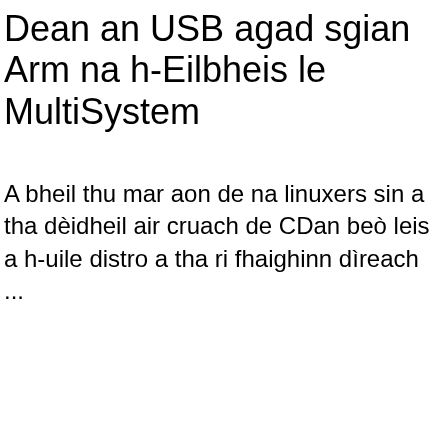Dean an USB agad sgian Arm na h-Eilbheis le MultiSystem
A bheil thu mar aon de na linuxers sin a tha dèidheil air cruach de CDan beò leis a h-uile distro a tha ri fhaighinn dìreach ...